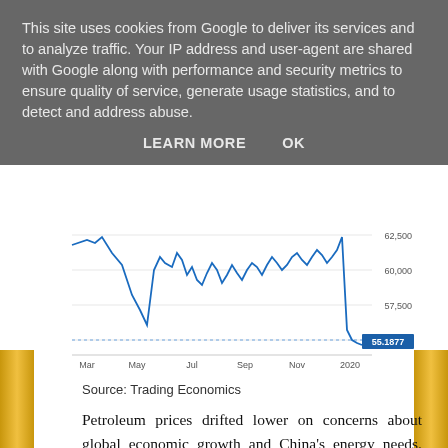This site uses cookies from Google to deliver its services and to analyze traffic. Your IP address and user-agent are shared with Google along with performance and security metrics to ensure quality of service, generate usage statistics, and to detect and address abuse.
LEARN MORE   OK
[Figure (continuous-plot): Line chart showing petroleum/commodity price over time from Mar 2019 to early 2020, with the price fluctuating mostly between 57,500 and 62,500, ending at 55.1877 marked in a blue label. X-axis labels: Mar, May, Jul, Sep, Nov, 2020. Y-axis labels: 62,500; 60,000; 57,500; 55.1877.]
Source: Trading Economics
Petroleum prices drifted lower on concerns about global economic growth and China's energy needs. But now lower petroleum prices are seen as positive to fuel the global economy again. Every